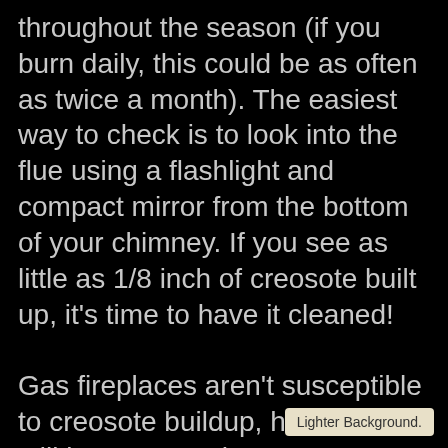throughout the season (if you burn daily, this could be as often as twice a month). The easiest way to check is to look into the flue using a flashlight and compact mirror from the bottom of your chimney. If you see as little as 1/8 inch of creosote built up, it's time to have it cleaned!

Gas fireplaces aren't susceptible to creosote buildup, however it's still important to have a professional check your system thoroughly at the start of every heating season and whenever you suspect trouble
Lighter Background.